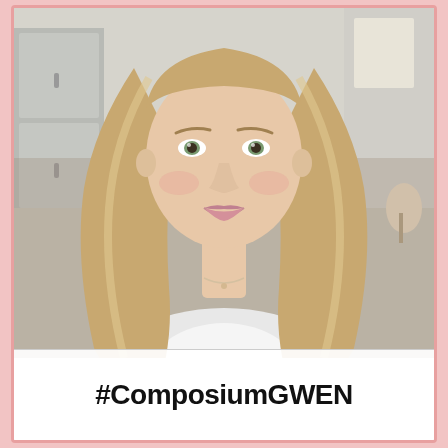[Figure (photo): A young woman with long blonde hair, green eyes, wearing a white top and a delicate necklace, smiling at the camera. She is posed in front of a bright kitchen/home interior background.]
#ComposiumGWEN